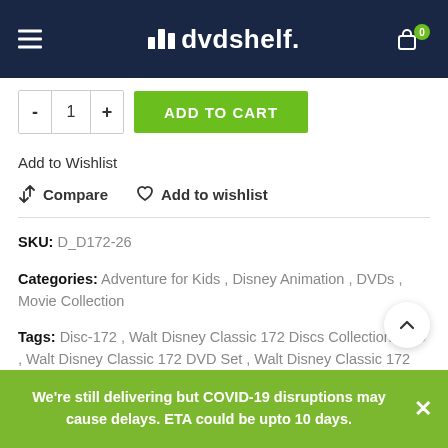dvdshelf.
- 1 + ADD TO CART
Add to Wishlist
Compare   Add to wishlist
SKU: D_D172-26
Categories: Adventure for Kids , Disney Animation , DVDs , Movie Collection
Tags: Disc-172 ,  Walt Disney Classic 172 Discs Collection DVD ,  Walt Disney Classic 172 DVD Set ,  Walt Disney Classic 172 Movies DVD
We're still delivering but COVID-19 disruptions may cause delays. ETA could be upto 10 days.